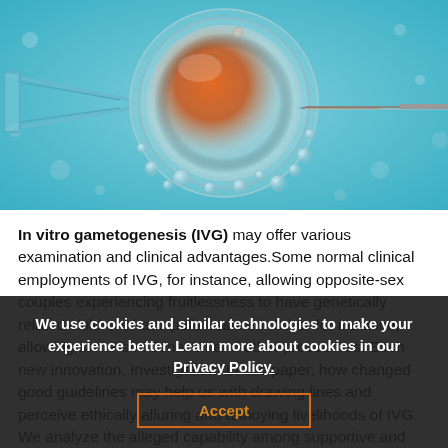[Figure (photo): Close-up scientific photo of an IVF (in vitro fertilization) procedure: a large spherical egg cell with an orange/golden center against a blue background, with a thin injection needle inserted from the right side and a holding pipette visible on the left.]
In vitro gametogenesis (IVG) may offer various examination and clinical advantages. Some normal clinical employments of IVG, for instance, allowing opposite-sex couples experiencing fruitlessness to have genetically related children, have pulls assisted. Other for instance, allowing same-sex donation and other procedures. Each new innovation. Investigation. In this paper, how changed good guidelines may help us with drawing lines and perceive ethically alluring and annoying livelihoods of IVG. We analyze the alleged capability among supportive and non-therapeutic jobs of assisted proliferation examining IVG, and how this capability...
We use cookies and similar technologies to make your experience better. Learn more about cookies in our Privacy Policy.
Accept